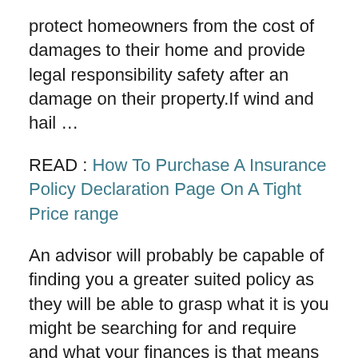protect homeowners from the cost of damages to their home and provide legal responsibility safety after an damage on their property.If wind and hail ...
READ : How To Purchase A Insurance Policy Declaration Page On A Tight Price range
An advisor will probably be capable of finding you a greater suited policy as they will be able to grasp what it is you might be searching for and require and what your finances is that means they are going to solely inform you about related insurance insurance policies. The higher health your body is within the much less strain it places in your organs which implies that you must be